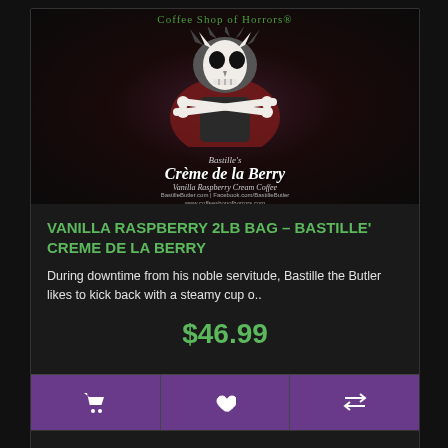[Figure (illustration): Coffee Shop of Horrors product image. Shows a skeleton-wolf character wearing a red cape, holding crossed bones in a gothic horror style. Text overlay reads 'Bastille's Crème de la Berry - Vanilla Raspberry Cream Coffee'. Green logo text at top reads 'Coffee Shop of Horrors'. Small website URLs visible at bottom of image.]
VANILLA RASPBERRY 2LB BAG - BASTILLE' CREME DE LA BERRY
During downtime from his noble servitude, Bastille the Butler likes to kick back with a steamy cup o..
$46.99